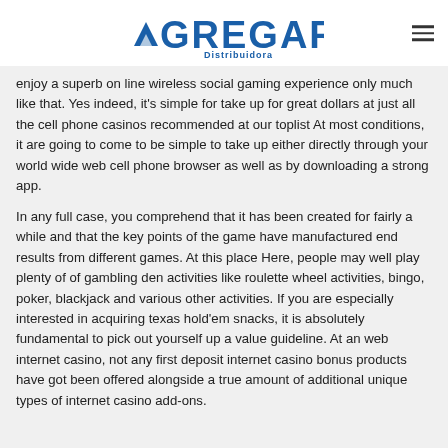AGREGAR Distribuidora
enjoy a superb on line wireless social gaming experience only much like that. Yes indeed, it's simple for take up for great dollars at just all the cell phone casinos recommended at our toplist At most conditions, it are going to come to be simple to take up either directly through your world wide web cell phone browser as well as by downloading a strong app.
In any full case, you comprehend that it has been created for fairly a while and that the key points of the game have manufactured end results from different games. At this place Here, people may well play plenty of of gambling den activities like roulette wheel activities, bingo, poker, blackjack and various other activities. If you are especially interested in acquiring texas hold'em snacks, it is absolutely fundamental to pick out yourself up a value guideline. At an web internet casino, not any first deposit internet casino bonus products have got been offered alongside a true amount of additional unique types of internet casino add-ons.